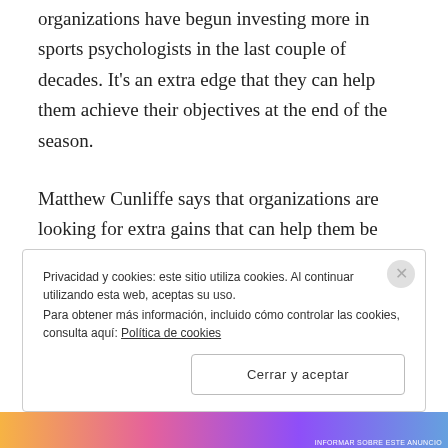organizations have begun investing more in sports psychologists in the last couple of decades. It's an extra edge that they can help them achieve their objectives at the end of the season.
Matthew Cunliffe says that organizations are looking for extra gains that can help them be successful.
Privacidad y cookies: este sitio utiliza cookies. Al continuar utilizando esta web, aceptas su uso.
Para obtener más información, incluido cómo controlar las cookies, consulta aquí: Política de cookies